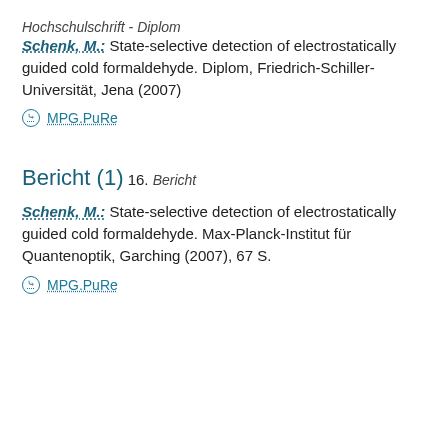Hochschulschrift - Diplom
Schenk, M.: State-selective detection of electrostatically guided cold formaldehyde. Diplom, Friedrich-Schiller-Universität, Jena (2007)
MPG.PuRe
Bericht (1)
16.
Bericht
Schenk, M.: State-selective detection of electrostatically guided cold formaldehyde. Max-Planck-Institut für Quantenoptik, Garching (2007), 67 S.
MPG.PuRe